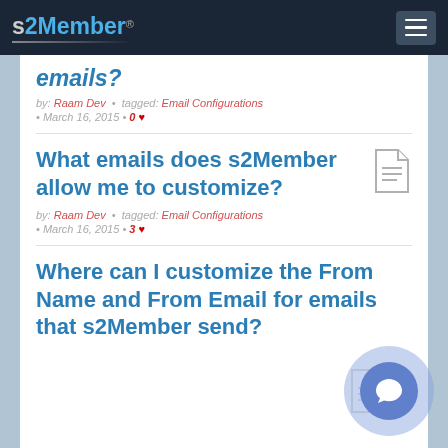s2Member®
emails?
by: Raam Dev • tagged: Email Configurations • March 16, 2015 • 0 ♥
What emails does s2Member allow me to customize?
by: Raam Dev • tagged: Email Configurations • March 16, 2015 • 3 ♥
Where can I customize the From Name and From Email for emails that s2Member send?